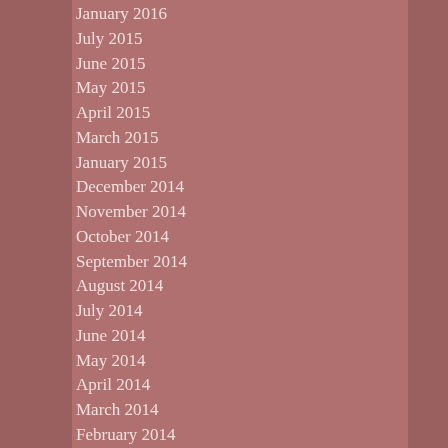January 2016
July 2015
June 2015
May 2015
April 2015
March 2015
January 2015
December 2014
November 2014
October 2014
September 2014
August 2014
July 2014
June 2014
May 2014
April 2014
March 2014
February 2014
December 2013
October 2013
July 2013